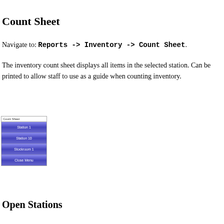Count Sheet
Navigate to: Reports -> Inventory -> Count Sheet.
The inventory count sheet displays all items in the selected station. Can be printed to allow staff to use as a guide when counting inventory.
[Figure (screenshot): A UI panel labeled 'Count Sheet' with four blue gradient buttons: Station 1, Station 10, Stockroom 1, Close Menu]
Open Stations